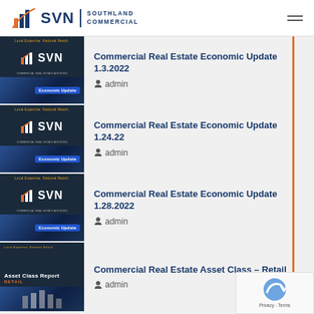[Figure (logo): SVN Southland Commercial logo with bar chart icon]
Commercial Real Estate Economic Update 1.3.2022 - admin
Commercial Real Estate Economic Update 1.24.22 - admin
Commercial Real Estate Economic Update 1.28.2022 - admin
Commercial Real Estate Asset Class – Retail - admin